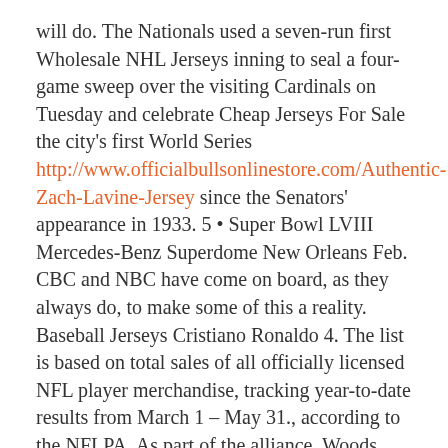will do. The Nationals used a seven-run first Wholesale NHL Jerseys inning to seal a four-game sweep over the visiting Cardinals on Tuesday and celebrate Cheap Jerseys For Sale the city's first World Series http://www.officialbullsonlinestore.com/Authentic-Zach-Lavine-Jersey since the Senators' appearance in 1933. 5 • Super Bowl LVIII Mercedes-Benz Superdome New Orleans Feb. CBC and NBC have come on board, as they always do, to make some of this a reality. Baseball Jerseys Cristiano Ronaldo 4. The list is based on total sales of all officially licensed NFL player merchandise, tracking year-to-date results from March 1 – May 31., according to the NFLPA. As part of the alliance, Woods will be Derek Wolfe Womens Jersey featured in digital, social, print and broadcast marketing globally as a Bridgestone Golf